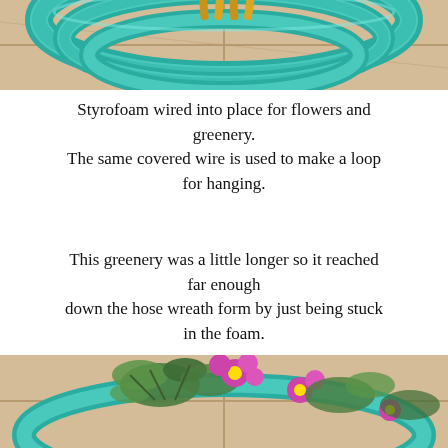[Figure (photo): Close-up of teal/turquoise garden hose coiled into a wreath form, secured with gold/yellow wire ties, resting on a stone tile surface. Only the top portion of the wreath is visible.]
Styrofoam wired into place for flowers and greenery.
The same covered wire is used to make a loop for hanging.
This greenery was a little longer so it reached far enough
down the hose wreath form by just being stuck in the foam.
[Figure (photo): Photo showing a hose wreath with purple/pink flowers and green foliage placed on top of it, lying on stone tile. A small scroll-up arrow icon is visible at the bottom right.]